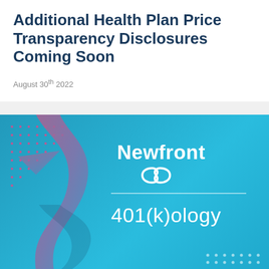Additional Health Plan Price Transparency Disclosures Coming Soon
August 30th 2022
[Figure (illustration): Newfront 401(k)ology branded banner image on a blue background with pink dot grid pattern, a mauve/purple curving ribbon shape on the left, the Newfront logo with infinity symbol in white, a horizontal dividing line, and '401(k)ology' text in white below.]